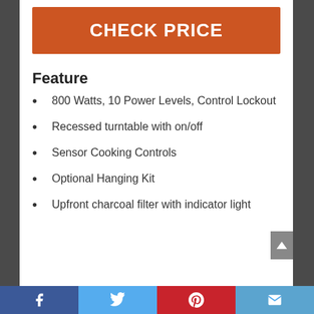CHECK PRICE
Feature
800 Watts, 10 Power Levels, Control Lockout
Recessed turntable with on/off
Sensor Cooking Controls
Optional Hanging Kit
Upfront charcoal filter with indicator light
Facebook | Twitter | Pinterest | Email